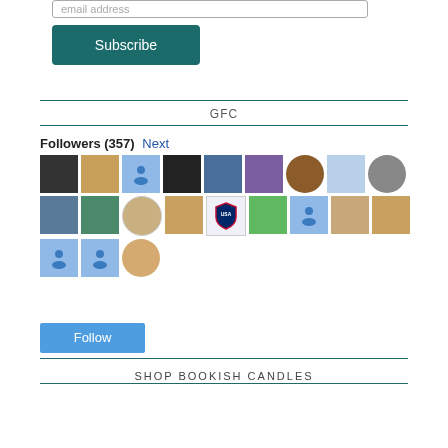email address
Subscribe
GFC
Followers (357) Next
[Figure (other): Grid of 21 follower avatar images in 3 rows of 9 and 1 row of 3, some showing profile photos, some showing default blue person icons]
Follow
SHOP BOOKISH CANDLES